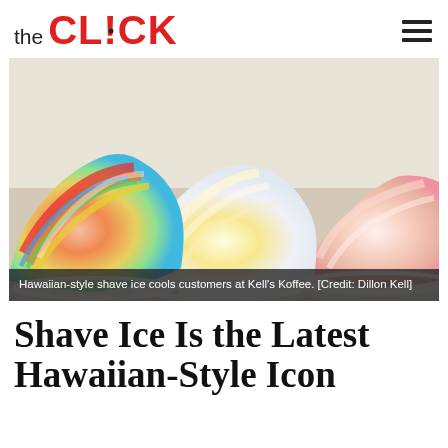the CLICK
[Figure (photo): Close-up photo of Hawaiian-style shave ice in bowls. Left bowl has colorful rainbow shave ice with red, orange, yellow, blue, and green layers. Center bowl has white and yellow shave ice. Right bowl has white and pink shave ice. Background is bright and light-filled.]
Hawaiian-style shave ice cools customers at Kell's Koffee. [Credit: Dillon Kell]
Shave Ice Is the Latest Hawaiian-Style Icon